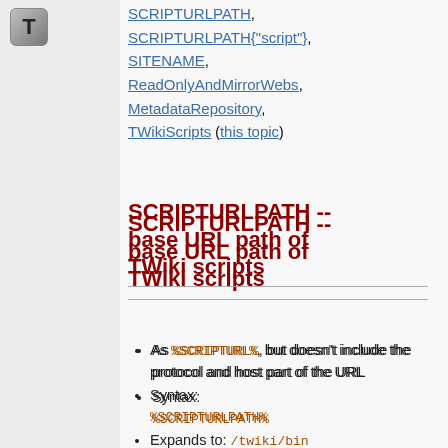[Figure (logo): T icon in top-left sidebar]
SCRIPTURLPATH, SCRIPTURLPATH{"script"}, SITENAME, ReadOnlyAndMirrorWebs, MetadataRepository, TWikiScripts (this topic)
SCRIPTURLPATH -- base URL path of TWiki scripts
As %SCRIPTURL%, but doesn't include the protocol and host part of the URL
Syntax: %SCRIPTURLPATH%
Expands to: /twiki/bin
Note: The edit script should always be used in conjunction with ? t=%GMTIME{"$epoch"}% to